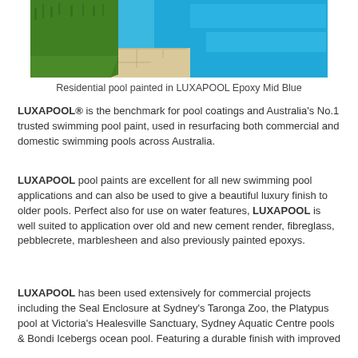[Figure (photo): Photograph of a residential swimming pool painted in LUXAPOOL Epoxy Mid Blue, showing bright blue water next to a tiled pool edge and green grass lawn]
Residential pool painted in LUXAPOOL Epoxy Mid Blue
LUXAPOOL® is the benchmark for pool coatings and Australia's No.1 trusted swimming pool paint, used in resurfacing both commercial and domestic swimming pools across Australia.
LUXAPOOL pool paints are excellent for all new swimming pool applications and can also be used to give a beautiful luxury finish to older pools. Perfect also for use on water features, LUXAPOOL is well suited to application over old and new cement render, fibreglass, pebblecrete, marblesheen and also previously painted epoxys.
LUXAPOOL has been used extensively for commercial projects including the Seal Enclosure at Sydney's Taronga Zoo, the Platypus pool at Victoria's Healesville Sanctuary, Sydney Aquatic Centre pools & Bondi Icebergs ocean pool. Featuring a durable finish with improved